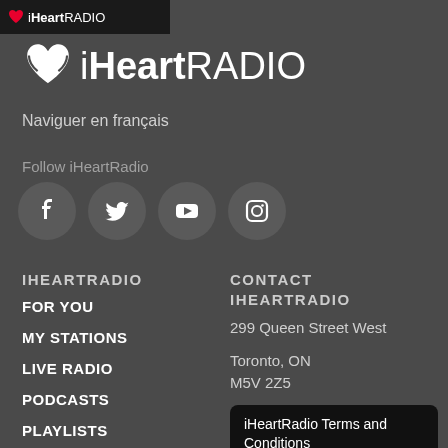iHeartRADIO
[Figure (logo): iHeartRadio logo with heart icon and text iHeartRADIO]
Naviguer en français
Follow iHeartRadio
[Figure (illustration): Social media icons: Facebook, Twitter, YouTube, Instagram]
IHEARTRADIO
FOR YOU
MY STATIONS
LIVE RADIO
PODCASTS
PLAYLISTS
NEWS
FEATURES
CONTACT IHEARTRADIO
299 Queen Street West
Toronto, ON
M5V 2Z5
iHeartRadio Terms and Conditions
iHeartRadio Privacy Policy
Contact Us